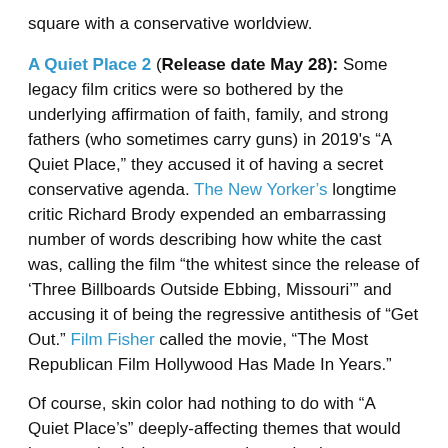square with a conservative worldview.
A Quiet Place 2 (Release date May 28): Some legacy film critics were so bothered by the underlying affirmation of faith, family, and strong fathers (who sometimes carry guns) in 2019's “A Quiet Place,” they accused it of having a secret conservative agenda. The New Yorker’s longtime critic Richard Brody expended an embarrassing number of words describing how white the cast was, calling the film “the whitest since the release of ‘Three Billboards Outside Ebbing, Missouri’” and accusing it of being the regressive antithesis of “Get Out.” Film Fisher called the movie, “The Most Republican Film Hollywood Has Made In Years.”
Of course, skin color had nothing to do with “A Quiet Place’s” deeply-affecting themes that would have worked whatever race the main characters were. Writer/director/star John Krasinski understandably denied Brody’s claim. But his review was right about one thing